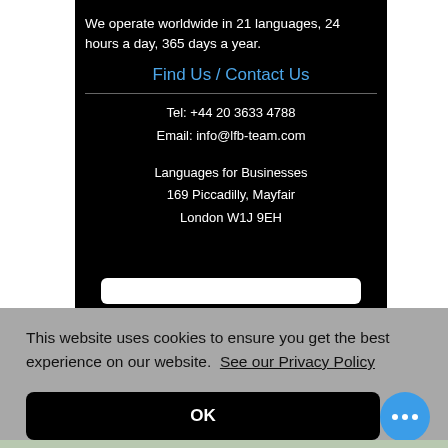We operate worldwide in 21 languages, 24 hours a day, 365 days a year.
Find Us / Contact Us
Tel: +44 20 3633 4788
Email: info@lfb-team.com
Languages for Businesses
169 Piccadilly, Mayfair
London W1J 9EH
This website uses cookies to ensure you get the best experience on our website.  See our Privacy Policy
OK